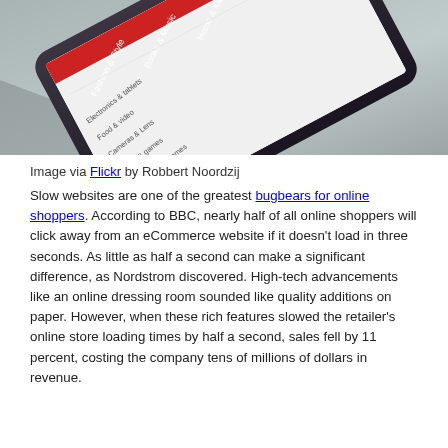[Figure (photo): A smartphone lying flat on a surface, screen displaying a shopping or navigation app with category labels visible at an angle. Photo by Robbert Noordzij via Flickr.]
Image via Flickr by Robbert Noordzij
Slow websites are one of the greatest bugbears for online shoppers. According to BBC, nearly half of all online shoppers will click away from an eCommerce website if it doesn't load in three seconds. As little as half a second can make a significant difference, as Nordstrom discovered. High-tech advancements like an online dressing room sounded like quality additions on paper. However, when these rich features slowed the retailer's online store loading times by half a second, sales fell by 11 percent, costing the company tens of millions of dollars in revenue.